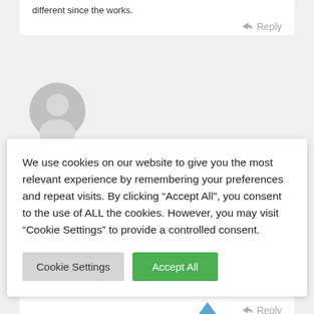different since the works.
Reply
[Figure (illustration): User avatar placeholder circle with grey silhouette icon]
We use cookies on our website to give you the most relevant experience by remembering your preferences and repeat visits. By clicking “Accept All”, you consent to the use of ALL the cookies. However, you may visit "Cookie Settings" to provide a controlled consent.
Cookie Settings
Accept All
which is dire. What's worse, it is surrounded by new developments (completed and proposed), which serve to highlight its neglect further.
Reply